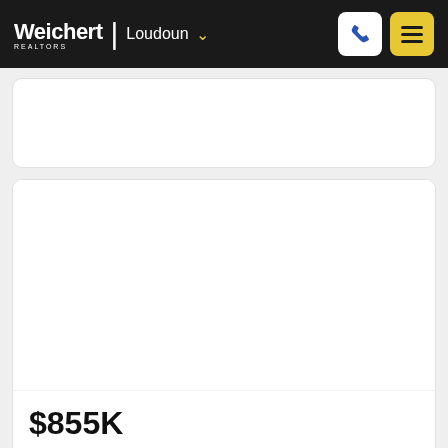Weichert | Loudoun
[Figure (screenshot): Blank white card area (top card, partially visible)]
[Figure (photo): Property listing photo placeholder (white/blank image area)]
$855K
3,888 SqFt  4 Beds + 4.5 Baths
Ashburn, VA